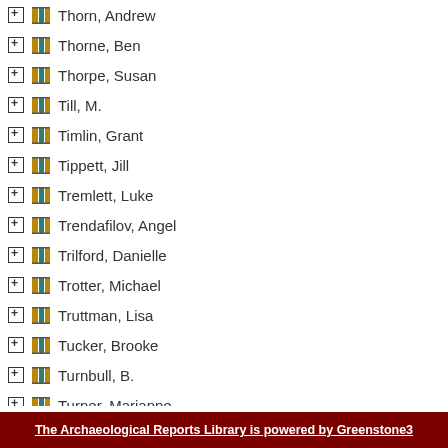Thorn, Andrew
Thorne, Ben
Thorpe, Susan
Till, M.
Timlin, Grant
Tippett, Jill
Tremlett, Luke
Trendafilov, Angel
Trilford, Danielle
Trotter, Michael
Truttman, Lisa
Tucker, Brooke
Turnbull, B.
Turner, Marianne
Twohill, Nicholas
Twohill, Nicholas F.
The Archaeological Reports Library is powered by Greenstone3